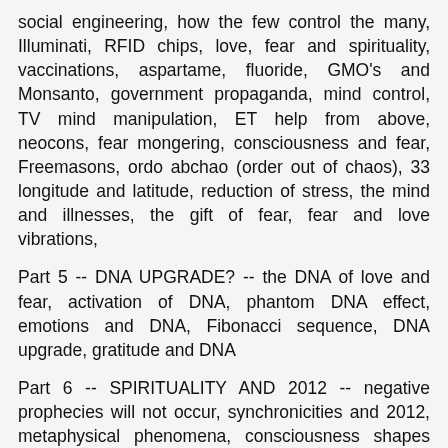social engineering, how the few control the many, Illuminati, RFID chips, love, fear and spirituality, vaccinations, aspartame, fluoride, GMO's and Monsanto, government propaganda, mind control, TV mind manipulation, ET help from above, neocons, fear mongering, consciousness and fear, Freemasons, ordo abchao (order out of chaos), 33 longitude and latitude, reduction of stress, the mind and illnesses, the gift of fear, fear and love vibrations,
Part 5 -- DNA UPGRADE? -- the DNA of love and fear, activation of DNA, phantom DNA effect, emotions and DNA, Fibonacci sequence, DNA upgrade, gratitude and DNA
Part 6 -- SPIRITUALITY AND 2012 -- negative prophecies will not occur, synchronicities and 2012, metaphysical phenomena, consciousness shapes reality, left brained versus right brained thinking, suppression of the feminine, spiritual transition of the psyche, seeking inner truth, repression of emotions, intention, how some people may get left behind, the Mandelbrot sequence, thoughts =